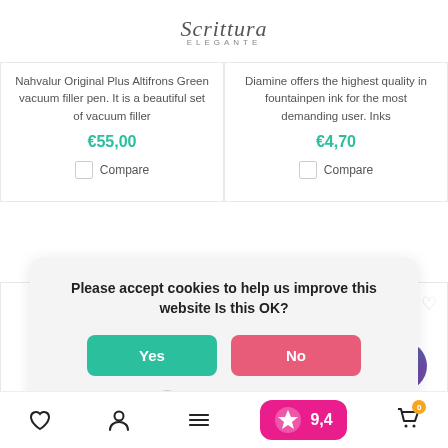Scrittura Elegante
Nahvalur Original Plus Altifrons Green vacuum filler pen. It is a beautiful set of vacuum filler
€55,00
Compare
Diamine offers the highest quality in fountainpen ink for the most demanding user. Inks
€4,70
Compare
Please accept cookies to help us improve this website Is this OK?
Yes
No
More on cookies »
heart icon | person icon | menu icon | Kiyoh 9,4 | cart 0